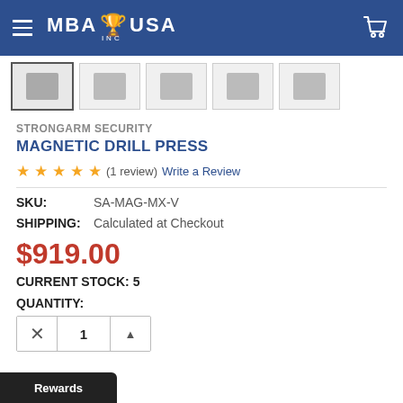MBA USA INC
[Figure (screenshot): Row of 5 product thumbnail images, first one highlighted with a border]
STRONGARM SECURITY
MAGNETIC DRILL PRESS
★★★★★ (1 review)  Write a Review
SKU: SA-MAG-MX-V
SHIPPING: Calculated at Checkout
$919.00
CURRENT STOCK: 5
QUANTITY:
Rewards